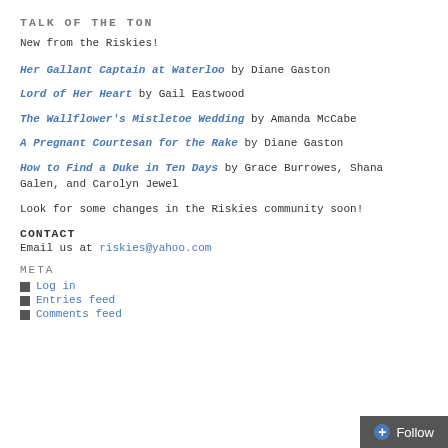TALK OF THE TON
New from the Riskies!
Her Gallant Captain at Waterloo by Diane Gaston
Lord of Her Heart by Gail Eastwood
The Wallflower's Mistletoe Wedding by Amanda McCabe
A Pregnant Courtesan for the Rake by Diane Gaston
How to Find a Duke in Ten Days by Grace Burrowes, Shana Galen, and Carolyn Jewel
Look for some changes in the Riskies community soon!
CONTACT
Email us at riskies@yahoo.com
META
Log in
Entries feed
Comments feed